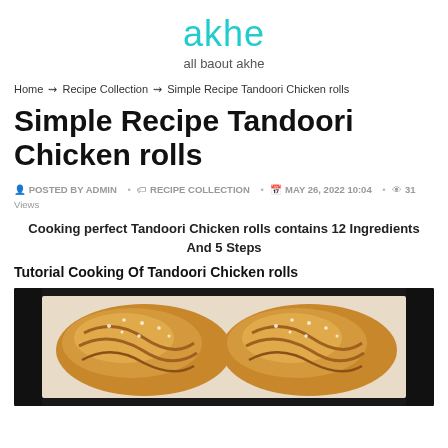akhe
all baout akhe
Home → Recipe Collection → Simple Recipe Tandoori Chicken rolls
Simple Recipe Tandoori Chicken rolls
POSTED BY ADMIN • RECIPE COLLECTION • MAY 26, 2022 10:04 • 31 Views
Cooking perfect Tandoori Chicken rolls contains 12 Ingredients And 5 Steps
Tutorial Cooking Of Tandoori Chicken rolls
[Figure (photo): Photo of baked tandoori chicken rolls with sesame seeds on a baking tray]